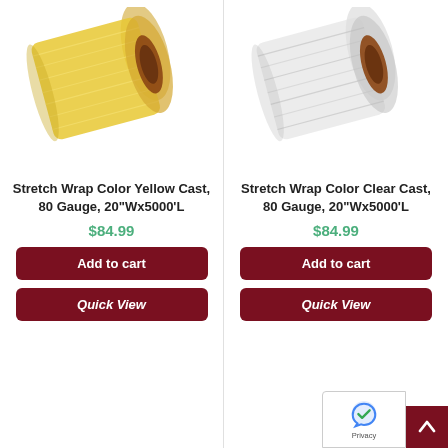[Figure (photo): Roll of yellow stretch wrap film on white background]
Stretch Wrap Color Yellow Cast, 80 Gauge, 20"Wx5000'L
$84.99
Add to cart
Quick View
[Figure (photo): Roll of clear stretch wrap film on white background]
Stretch Wrap Color Clear Cast, 80 Gauge, 20"Wx5000'L
$84.99
Add to cart
Quick View